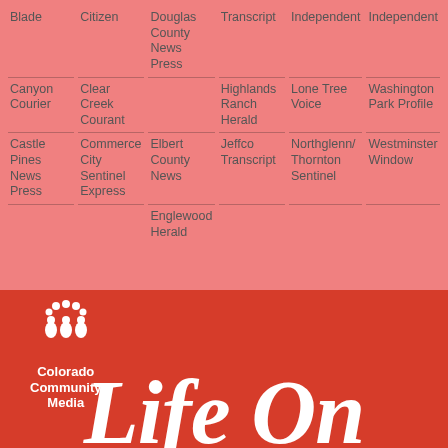Blade
Citizen
Douglas County News Press
Transcript
Independent
Independent
Canyon Courier
Clear Creek Courant
Highlands Ranch Herald
Lone Tree Voice
Washington Park Profile
Castle Pines News Press
Commerce City Sentinel Express
Elbert County News
Jeffco Transcript
Northglenn/Thornton Sentinel
Westminster Window
Englewood Herald
[Figure (logo): Colorado Community Media logo with people icons in white on red background]
Life On
CAPITOL HILL
0 SHARES
[Figure (infographic): Social sharing bar with Facebook, Twitter, Email, Pinterest, and plus buttons]